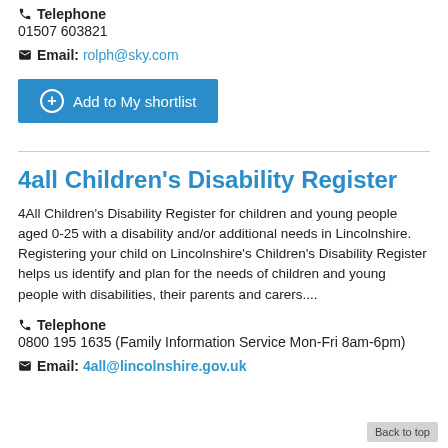Telephone 01507 603821
Email: rolph@sky.com
Add to My shortlist
4all Children's Disability Register
4All Children's Disability Register for children and young people aged 0-25 with a disability and/or additional needs in Lincolnshire. Registering your child on Lincolnshire's Children's Disability Register helps us identify and plan for the needs of children and young people with disabilities, their parents and carers....
Telephone 0800 195 1635 (Family Information Service Mon-Fri 8am-6pm)
Email: 4all@lincolnshire.gov.uk